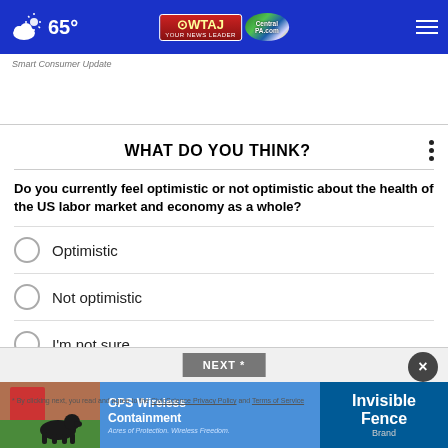65° WTAJ CentralPA.com
Smart Consumer Update
WHAT DO YOU THINK?
Do you currently feel optimistic or not optimistic about the health of the US labor market and economy as a whole?
Optimistic
Not optimistic
I'm not sure
Other / No opinion
NEXT *
[Figure (photo): Advertisement banner: GPS Wireless Containment - Invisible Fence Brand, featuring a black dog photo]
* By clicking next, you read and agree to the CivicScience Privacy Policy and Terms of Service